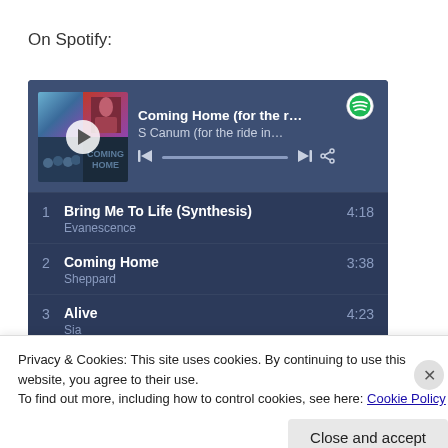On Spotify:
[Figure (screenshot): Spotify embedded music player widget showing 'Coming Home (for the r...' by 'S Canum (for the ride in...' with album art collage, play button, progress bar, skip controls, and share icon. Track list below shows: 1. Bring Me To Life (Synthesis) - Evanescence - 4:18; 2. Coming Home - Sheppard - 3:38; 3. Alive - Sia - 4:23]
Privacy & Cookies: This site uses cookies. By continuing to use this website, you agree to their use.
To find out more, including how to control cookies, see here: Cookie Policy
Close and accept